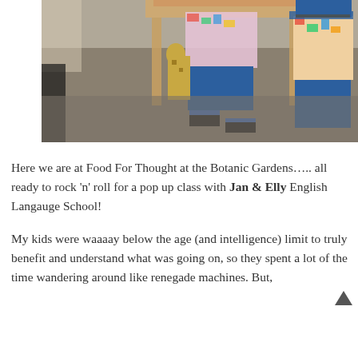[Figure (photo): Two young children standing near a wooden table. One child in a colorful top and blue shorts holds a stuffed animal giraffe and wears sandals. The other child on the right wears a colorful tank top, blue shorts, and a cap, standing with hands in pockets.]
Here we are at Food For Thought at the Botanic Gardens….. all ready to rock 'n' roll for a pop up class with Jan & Elly English Langauge School!
My kids were waaaay below the age (and intelligence) limit to truly benefit and understand what was going on, so they spent a lot of the time wandering around like renegade machines. But, Hunter did cotton on to it near the end, so whew!